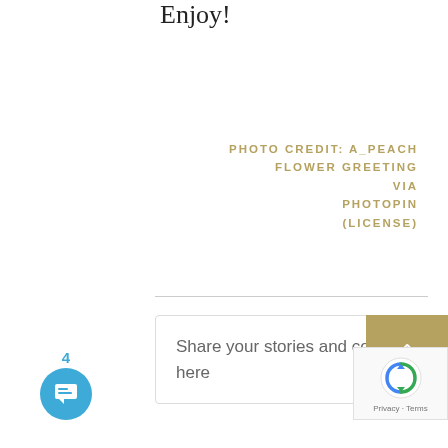Enjoy!
PHOTO CREDIT: A_PEACH FLOWER GREETING VIA PHOTOPIN (LICENSE)
Share your stories and comments here